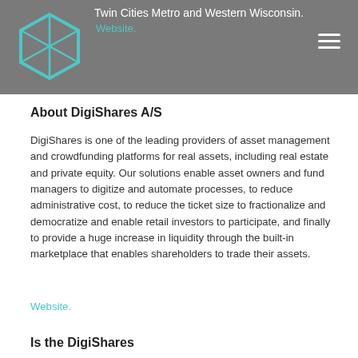Twin Cities Metro and Western Wisconsin. Website.
About DigiShares A/S
DigiShares is one of the leading providers of asset management and crowdfunding platforms for real assets, including real estate and private equity. Our solutions enable asset owners and fund managers to digitize and automate processes, to reduce administrative cost, to reduce the ticket size to fractionalize and democratize and enable retail investors to participate, and finally to provide a huge increase in liquidity through the built-in marketplace that enables shareholders to trade their assets.
Website.
Is the DigiShares...